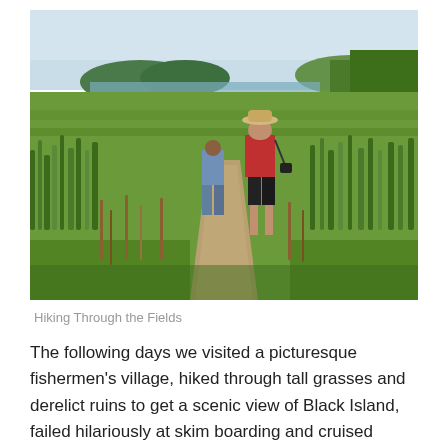[Figure (photo): Two people hiking through tall green grass fields with mountains and water visible in the background. One person wears a red shirt and hat with a camera bag, the other wears a blue sleeveless shirt.]
Hiking Through the Fields
The following days we visited a picturesque fishermen's village, hiked through tall grasses and derelict ruins to get a scenic view of Black Island, failed hilariously at skim boarding and cruised through breathtaking lagoons of Coron Island. We even managed to chase down the